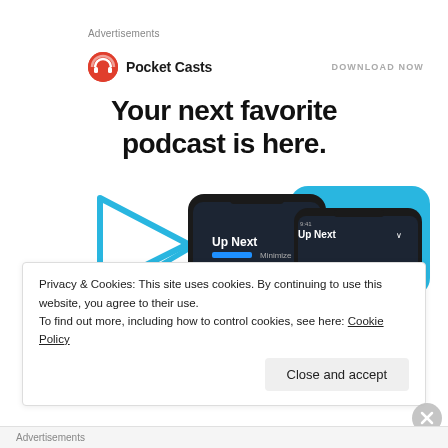Advertisements
[Figure (screenshot): Pocket Casts advertisement banner featuring logo, brand name, 'DOWNLOAD NOW' CTA, headline 'Your next favorite podcast is here.' and smartphone screenshots showing the app UI with 'Up Next' queue]
Privacy & Cookies: This site uses cookies. By continuing to use this website, you agree to their use.
To find out more, including how to control cookies, see here: Cookie Policy
Close and accept
Advertisements